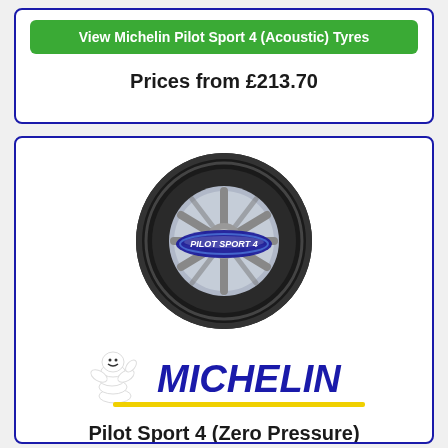View Michelin Pilot Sport 4 (Acoustic) Tyres
Prices from £213.70
[Figure (illustration): Michelin Pilot Sport 4 tyre with Michelin logo (Bibendum mascot and MICHELIN text in blue italic) and yellow underline, followed by product name Pilot Sport 4 (Zero Pressure)]
Pilot Sport 4 (Zero Pressure)